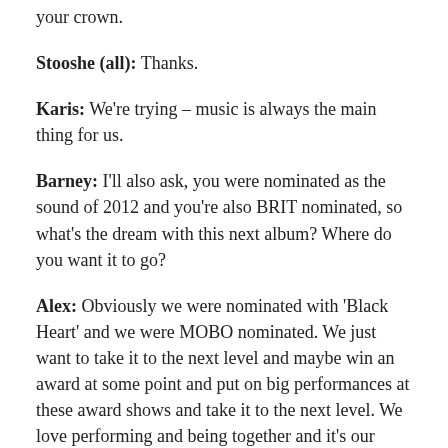your crown.
Stooshe (all): Thanks.
Karis: We're trying – music is always the main thing for us.
Barney: I'll also ask, you were nominated as the sound of 2012 and you're also BRIT nominated, so what's the dream with this next album? Where do you want it to go?
Alex: Obviously we were nominated with 'Black Heart' and we were MOBO nominated. We just want to take it to the next level and maybe win an award at some point and put on big performances at these award shows and take it to the next level. We love performing and being together and it's our ultimate dream to keep doing it.
Barney: One more thing about the fashion aesthetic. How much do you have input into that? Do you meet people and